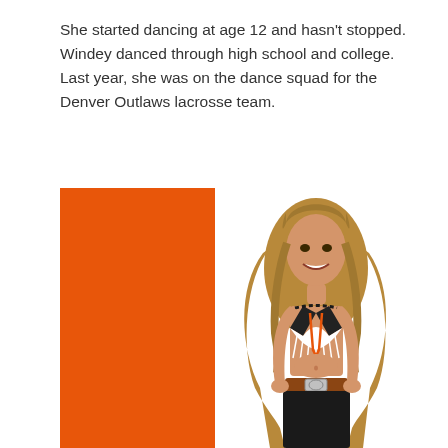She started dancing at age 12 and hasn't stopped. Windey danced through high school and college. Last year, she was on the dance squad for the Denver Outlaws lacrosse team.
[Figure (photo): A young woman in a black and white fringed halter top with orange accent and black pants with a decorative belt buckle, posing in front of an orange background with a decorative chain border element. She has long wavy blonde-brown hair and is smiling.]